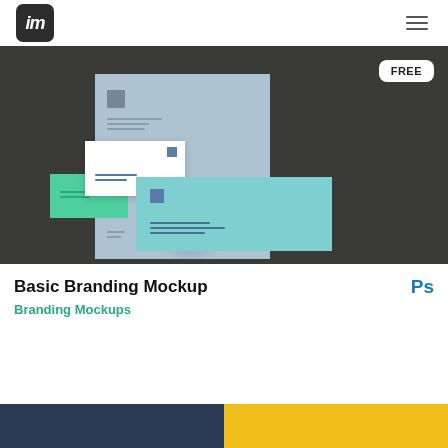im (logo) — hamburger menu
[Figure (photo): Basic Branding Mockup product image on dark background showing a letterhead, envelope, business card, and teal envelope arrangement with a FREE badge in top right corner]
Basic Branding Mockup
Ps
Branding Mockups
[Figure (photo): Bottom strip showing partial preview of next item — dark blue on left, yellow on right]